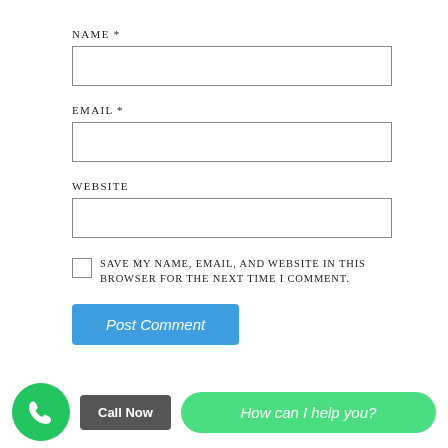NAME *
[Figure (other): Text input field for Name]
EMAIL *
[Figure (other): Text input field for Email]
WEBSITE
[Figure (other): Text input field for Website]
SAVE MY NAME, EMAIL, AND WEBSITE IN THIS BROWSER FOR THE NEXT TIME I COMMENT.
[Figure (other): Post Comment button (blue)]
[Figure (other): Bottom bar with green phone circle, Call Now button, and How can I help you? chat button]